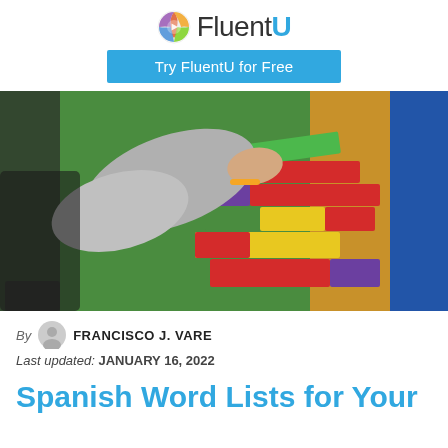FluentU — Try FluentU for Free
[Figure (photo): A child's hand placing a green wooden block on a stack of colorful wooden blocks (red, yellow, green, purple) in front of a green painted wall background.]
By FRANCISCO J. VARE
Last updated: JANUARY 16, 2022
Spanish Word Lists for Your